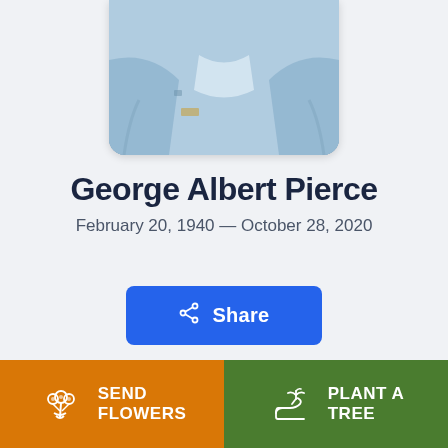[Figure (photo): Partial photo of George Albert Pierce wearing a denim jacket, cropped at the top of the page]
George Albert Pierce
February 20, 1940 — October 28, 2020
Share
SEND FLOWERS
PLANT A TREE